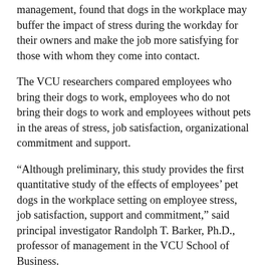management, found that dogs in the workplace may buffer the impact of stress during the workday for their owners and make the job more satisfying for those with whom they come into contact.
The VCU researchers compared employees who bring their dogs to work, employees who do not bring their dogs to work and employees without pets in the areas of stress, job satisfaction, organizational commitment and support.
“Although preliminary, this study provides the first quantitative study of the effects of employees’ pet dogs in the workplace setting on employee stress, job satisfaction, support and commitment,” said principal investigator Randolph T. Barker, Ph.D., professor of management in the VCU School of Business.
“Dogs in the workplace can make a positive difference,” he said. “The differences in perceived stress between days the dog was present and absent were significant. The employees as a whole had higher job satisfaction than industry norms.”
The study took place at Replacements, Ltd., a service-manufacturing-retail company located in Greensboro, N.C., which employs approximately 550 people. Approximately 20